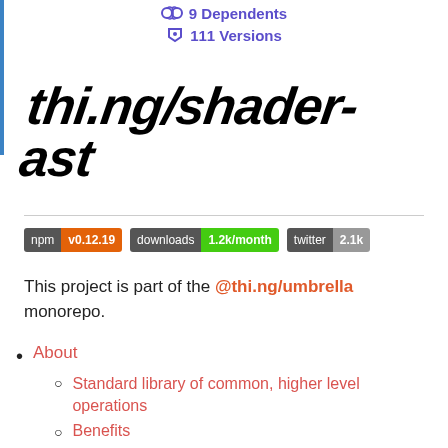9 Dependents
111 Versions
thi.ng/shader-ast
npm v0.12.19   downloads 1.2k/month   twitter 2.1k
This project is part of the @thi.ng/umbrella monorepo.
About
Standard library of common, higher level operations
Benefits
Prior art / influences